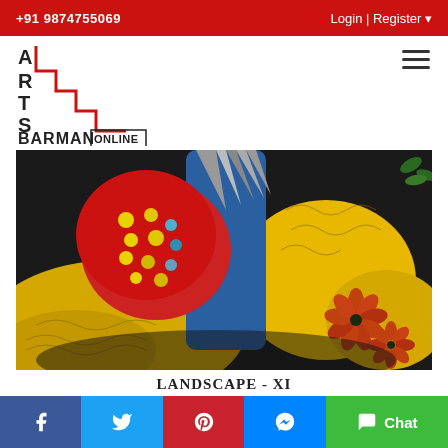+91 9874755069   Login | Register
[Figure (logo): Arts Barman Online logo with staircase letter design in red and black]
[Figure (photo): Close-up painting of a colorful landscape with yellow, red, blue, and black abstract forms with decorative orange flowers and textured patterns]
LANDSCAPE - XI
₹ 4000 | $ 51
Facebook | Twitter | Pinterest | Messenger | Chat